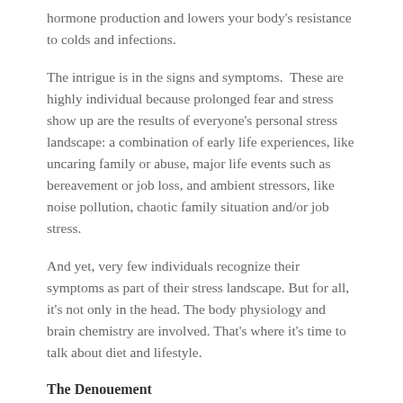hormone production and lowers your body's resistance to colds and infections.
The intrigue is in the signs and symptoms.  These are highly individual because prolonged fear and stress show up are the results of everyone's personal stress landscape: a combination of early life experiences, like uncaring family or abuse, major life events such as bereavement or job loss, and ambient stressors, like noise pollution, chaotic family situation and/or job stress.
And yet, very few individuals recognize their symptoms as part of their stress landscape. But for all, it's not only in the head. The body physiology and brain chemistry are involved. That's where it's time to talk about diet and lifestyle.
The Denouement